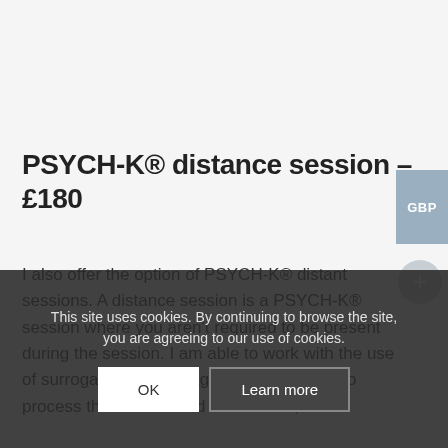PSYCH-K® distance session – £180
I also offer the option of PSYCH-K® distant sessions. A distance session is a PSYCH-K® session where you aren't required to be present during the session. I am able to work with the use of surrogation and we agree a time for me to process the session and at that time,
This site uses cookies. By continuing to browse the site, you are agreeing to our use of cookies.